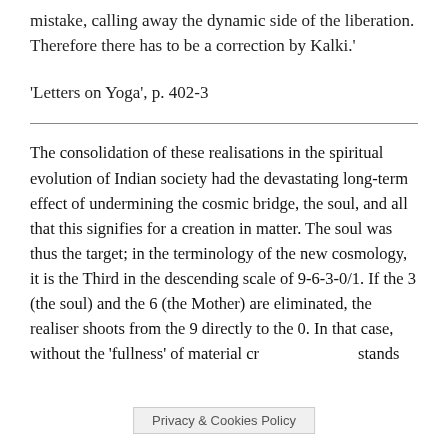mistake, calling away the dynamic side of the liberation. Therefore there has to be a correction by Kalki.'
'Letters on Yoga', p. 402-3
The consolidation of these realisations in the spiritual evolution of Indian society had the devastating long-term effect of undermining the cosmic bridge, the soul, and all that this signifies for a creation in matter. The soul was thus the target; in the terminology of the new cosmology, it is the Third in the descending scale of 9-6-3-0/1. If the 3 (the soul) and the 6 (the Mother) are eliminated, the realiser shoots from the 9 directly to the 0. In that case, without the 'fullness' of material cr[eation] stands